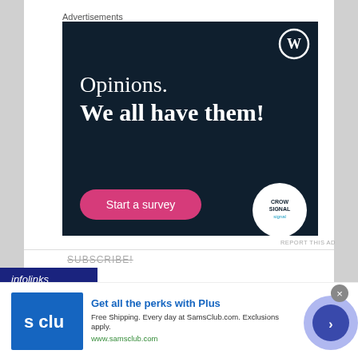Advertisements
[Figure (illustration): Dark navy advertisement for Crowdsignal/WordPress with text 'Opinions. We all have them!' and a pink 'Start a survey' button, WordPress W logo top right, Crowdsignal circle logo bottom right]
REPORT THIS AD
SUBSCRIBE!
[Figure (logo): Infolinks dark blue banner logo]
[Figure (illustration): Sam's Club advertisement banner: blue S Club logo on left, 'Get all the perks with Plus' heading, 'Free Shipping. Every day at SamsClub.com. Exclusions apply.' description, www.samsclub.com URL, purple circle arrow button on right]